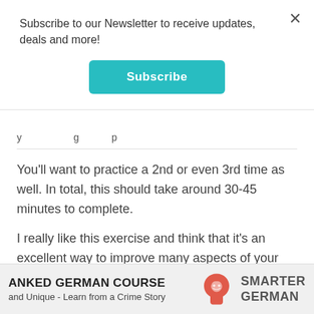Subscribe to our Newsletter to receive updates, deals and more!
Subscribe
y... g... p...
You'll want to practice a 2nd or even 3rd time as well. In total, this should take around 30-45 minutes to complete.
I really like this exercise and think that it's an excellent way to improve many aspects of your German.
ORAL DICTATION
ANKED GERMAN COURSE
and Unique - Learn from a Crime Story
SMARTER GERMAN